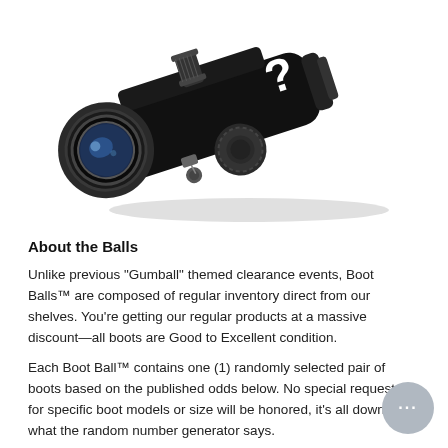[Figure (photo): A black night vision monocular scope photographed at an angle against a white background. The device has a large objective lens on the left showing a blue tint, adjustment knobs on top and side, and a white question mark symbol on the right side of the body. A small cap/plug hangs from the side.]
About the Balls
Unlike previous "Gumball" themed clearance events, Boot Balls™ are composed of regular inventory direct from our shelves. You're getting our regular products at a massive discount—all boots are Good to Excellent condition.
Each Boot Ball™ contains one (1) randomly selected pair of boots based on the published odds below. No special requests for specific boot models or size will be honored, it's all down to what the random number generator says.